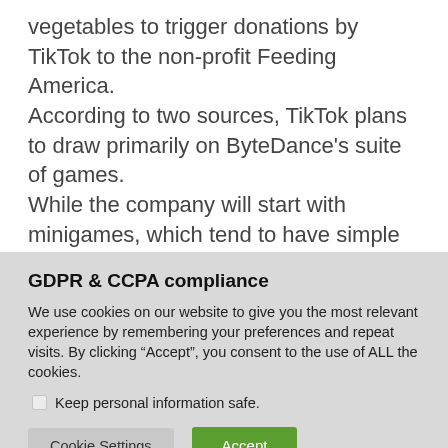vegetables to trigger donations by TikTok to the non-profit Feeding America. According to two sources, TikTok plans to draw primarily on ByteDance's suite of games. While the company will start with minigames, which tend to have simple game play mechanisms and a short playing time, its gaming ambitions extend beyond that, said one of the people who had direct knowledge of the matter.
GDPR & CCPA compliance
We use cookies on our website to give you the most relevant experience by remembering your preferences and repeat visits. By clicking “Accept”, you consent to the use of ALL the cookies.
Keep personal information safe.
Cookie Settings | Accept